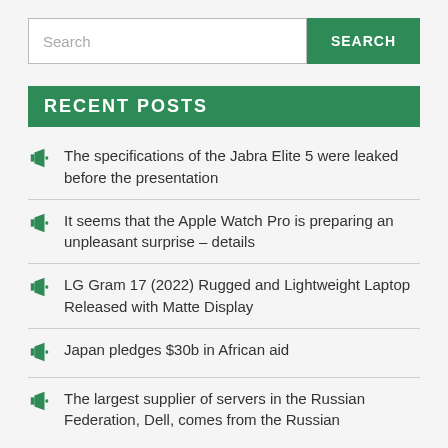Search
RECENT POSTS
The specifications of the Jabra Elite 5 were leaked before the presentation
It seems that the Apple Watch Pro is preparing an unpleasant surprise – details
LG Gram 17 (2022) Rugged and Lightweight Laptop Released with Matte Display
Japan pledges $30b in African aid
The largest supplier of servers in the Russian Federation, Dell, comes from the Russian